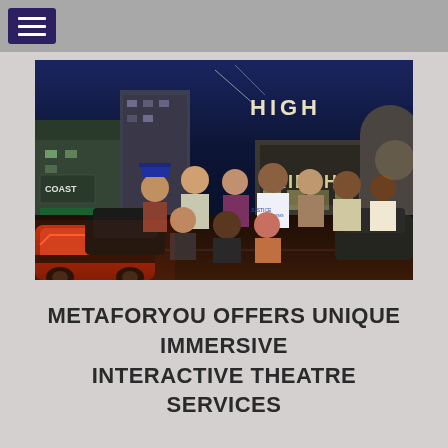[Figure (photo): Group photo of approximately 10 people in costumes posing together at night on a street, with storefronts including 'KINSH' visible in background and a 'HIGH' sign lit up. People are wearing various themed outfits. An orange car is visible in foreground.]
METAFORYOU OFFERS UNIQUE IMMERSIVE INTERACTIVE THEATRE SERVICES